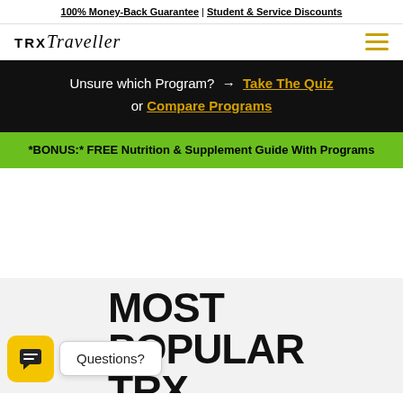100% Money-Back Guarantee | Student & Service Discounts
[Figure (logo): TRXTraveller logo with hamburger menu icon in gold]
Unsure which Program? → Take The Quiz or Compare Programs
*BONUS:* FREE Nutrition & Supplement Guide With Programs
MOST POPULAR TRX PROGRAMS
Questions?